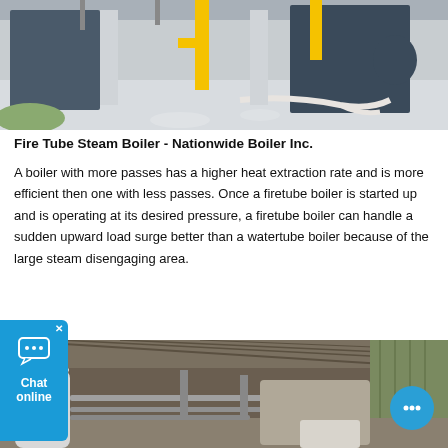[Figure (photo): Industrial boiler room with large blue boiler units, yellow gas pipes, and white pipes/hoses on a light grey floor.]
Fire Tube Steam Boiler - Nationwide Boiler Inc.
A boiler with more passes has a higher heat extraction rate and is more efficient then one with less passes. Once a firetube boiler is started up and is operating at its desired pressure, a firetube boiler can handle a sudden upward load surge better than a watertube boiler because of the large steam disengaging area.
[Figure (photo): Industrial warehouse interior with boiler equipment, pipes, and corrugated metal roof structure.]